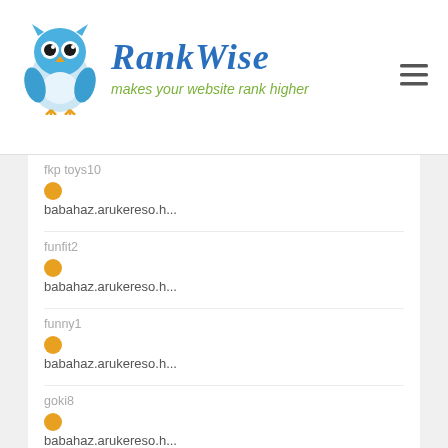[Figure (logo): RankWise owl logo with text 'RankWise' and tagline 'makes your website rank higher']
fkp toys10
babahaz.arukereso.h...
funfit2
babahaz.arukereso.h...
funny1
babahaz.arukereso.h...
goki8
babahaz.arukereso.h...
hh1
babahaz.arukereso.h...
hape1